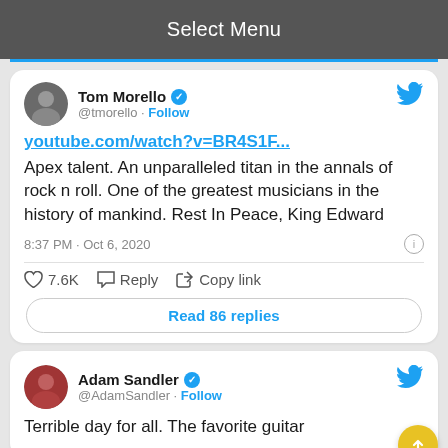Select Menu
[Figure (screenshot): Tom Morello tweet with avatar, verified badge, follow link, YouTube link, tweet text about King Edward Van Halen, timestamp, likes, reply, copy link actions, and read replies button]
[Figure (screenshot): Adam Sandler tweet with avatar, verified badge, follow link, and partial tweet text 'Terrible day for all. The favorite guitar']